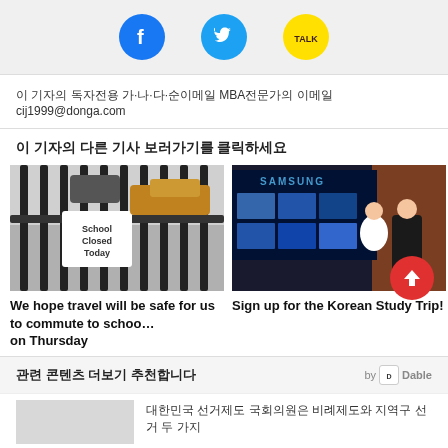[Figure (other): Social media icons: Facebook (blue circle with f), Twitter (blue circle with bird), KakaoTalk (yellow circle with TALK)]
이 기자의 독자전용 가·나·다·순이메일 MBA전문가의 이메일 cij1999@donga.com
이 기자의 다른 기사 보러가기를 클릭하세요
[Figure (photo): School closed sign on a gate with snow and cars in background]
[Figure (photo): Two people standing in front of Samsung display screens at what appears to be an event]
We hope travel will be safe for us to commute to schoo… on Thursday
Sign up for the Korean Study Trip!
관련 콘텐츠 더보기 추천합니다
by Dable
대한민국 선거제도 국회의원은 비례제도와 지역구 선거 두 가지